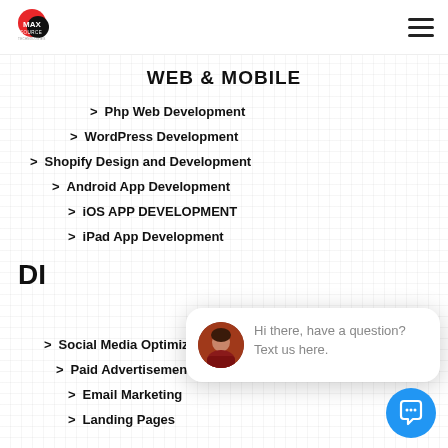MaxSource Technologies logo and hamburger menu
WEB & MOBILE
Php Web Development
WordPress Development
Shopify Design and Development
Android App Development
iOS APP DEVELOPMENT
iPad App Development
DI
[Figure (photo): Chat popup with woman avatar photo and text: Hi there, have a question? Text us here. With a close button.]
Social Media Optimization
Paid Advertisements
Email Marketing
Landing Pages